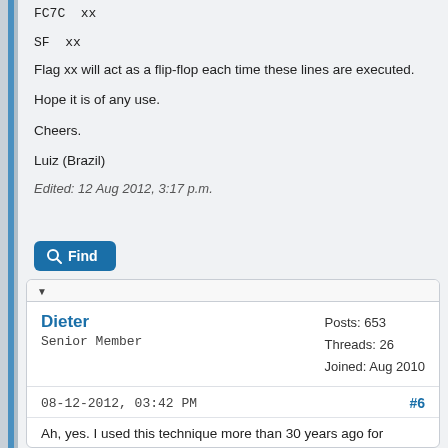FC7C  xx
SF  xx
Flag xx will act as a flip-flop each time these lines are executed.
Hope it is of any use.
Cheers.
Luiz (Brazil)
Edited: 12 Aug 2012, 3:17 p.m.
Find
Dieter
Senior Member
Posts: 653
Threads: 26
Joined: Aug 2010
08-12-2012, 03:42 PM  #6
Ah, yes. I used this technique more than 30 years ago for